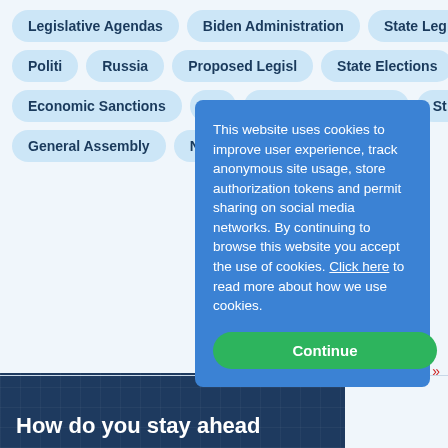Legislative Agendas
Biden Administration
State Legislatures
Politi…
Russia
Proposed Legisl…
State Elections
Ukraine
Economic Sanctions
St…
Political Campaigns
St…
General Assembly
New…
all »
This website uses cookies to improve user experience, track anonymous site usage, store authorization tokens and permit sharing on social media networks. By continuing to browse this website you accept the use of cookies. Click here to read more about how we use cookies.
Continue
How do you stay ahead